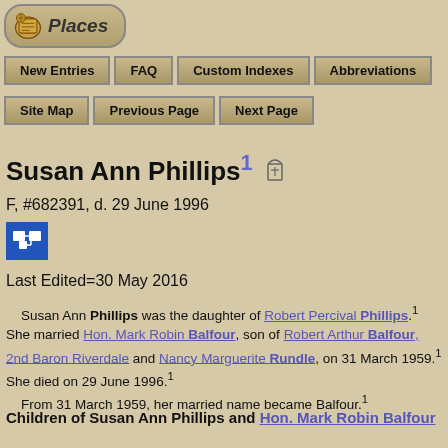[Figure (logo): Places logo with scroll icon]
New Entries
FAQ
Custom Indexes
Abbreviations
Site Map
Previous Page
Next Page
Susan Ann Phillips1 [gravestone icon]
F, #682391, d. 29 June 1996
Last Edited=30 May 2016
Susan Ann Phillips was the daughter of Robert Percival Phillips.1 She married Hon. Mark Robin Balfour, son of Robert Arthur Balfour, 2nd Baron Riverdale and Nancy Marguerite Rundle, on 31 March 1959.1 She died on 29 June 1996.1
From 31 March 1959, her married name became Balfour.1
Children of Susan Ann Phillips and Hon. Mark Robin Balfour